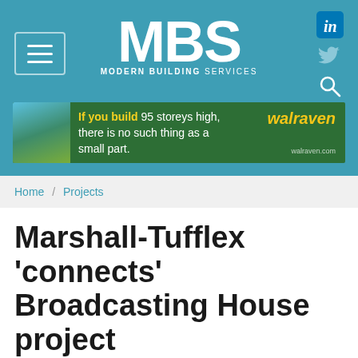MBS MODERN BUILDING SERVICES
[Figure (screenshot): Walraven advertisement banner: green background with tagline 'If you build 95 storeys high, there is no such thing as a small part.' and walraven.com URL]
Home / Projects
Marshall-Tufflex 'connects' Broadcasting House project